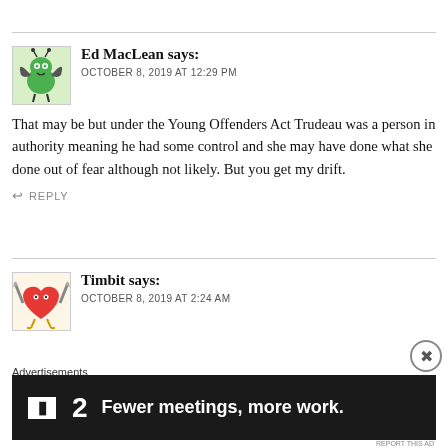[Figure (illustration): Avatar of Ed MacLean: cartoon green alien/monster with bat wings on a light green background]
Ed MacLean says:
OCTOBER 8, 2019 AT 12:29 PM
That may be but under the Young Offenders Act Trudeau was a person in authority meaning he had some control and she may have done what she done out of fear although not likely. But you get my drift.
↩ REPLY
[Figure (illustration): Avatar of Timbit: cartoon red heart with bird legs and sword-like wings on a light beige background]
Timbit says:
OCTOBER 8, 2019 AT 2:24 AM
Advertisements
[Figure (other): Advertisement banner: dark background with Plan logo and text 'Fewer meetings, more work.']